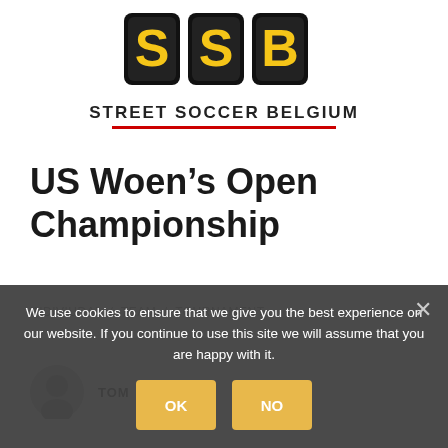[Figure (logo): Street Soccer Belgium (SSB) logo with bold 'SSB' letters in black with yellow/orange/red accent and 'STREET SOCCER BELGIUM' text below with red underline]
US Woen’s Open Championship
INDIVIUDAL / TEAM / TOURNAMENT
TOM
We use cookies to ensure that we give you the best experience on our website. If you continue to use this site we will assume that you are happy with it.
OK | NO